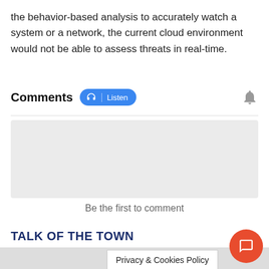the behavior-based analysis to accurately watch a system or a network, the current cloud environment would not be able to assess threats in real-time.
Comments
[Figure (screenshot): Comment input area (gray rectangle placeholder)]
Be the first to comment
TALK OF THE TOWN
Privacy & Cookies Policy